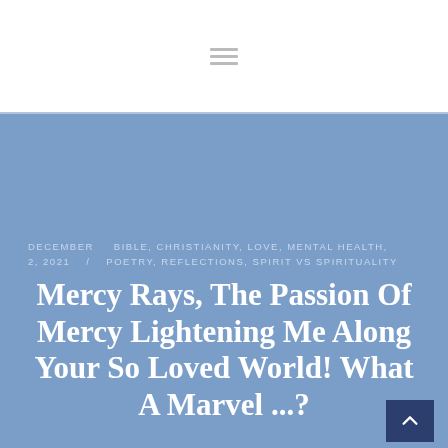[Figure (other): Hamburger menu icon (three horizontal lines) in page header]
DECEMBER 2, 2021   /   BIBLE, CHRISTIANITY, LOVE, MENTAL HEALTH, POETRY, REFLECTIONS, SPIRIT VS SPIRITUALITY
Mercy Rays, The Passion Of Mercy Lightening Me Along Your So Loved World! What A Marvel ...?
PayPal.Me/thiaBasilia Division? Must Take Place. The Natural Flesh MUST Die To Be Born Again In The Spirit ...? What Numbers To Close The Post To Begin Afresh ...? Wednesday, November 3, 2021, at 3:00 am. And what number to begin new post. Bedtime! Awake at 6:14 am